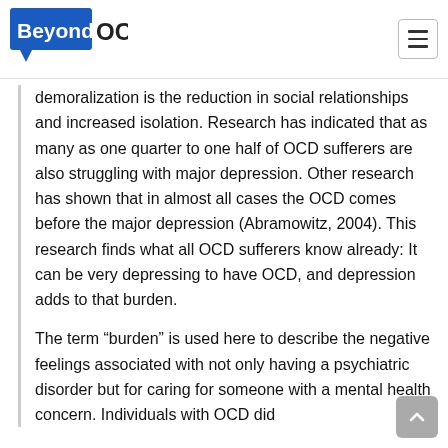BeyondOCD.org
demoralization is the reduction in social relationships and increased isolation. Research has indicated that as many as one quarter to one half of OCD sufferers are also struggling with major depression. Other research has shown that in almost all cases the OCD comes before the major depression (Abramowitz, 2004). This research finds what all OCD sufferers know already: It can be very depressing to have OCD, and depression adds to that burden.
The term “burden” is used here to describe the negative feelings associated with not only having a psychiatric disorder but for caring for someone with a mental health concern. Individuals with OCD did